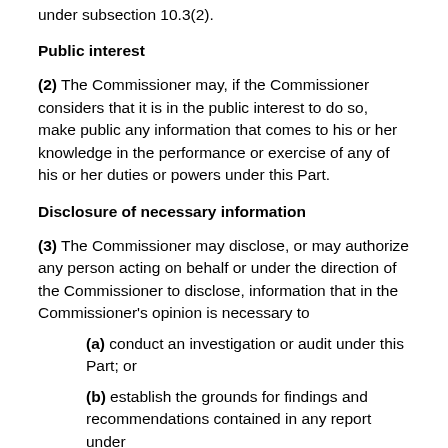under subsection 10.3(2).
Public interest
(2) The Commissioner may, if the Commissioner considers that it is in the public interest to do so, make public any information that comes to his or her knowledge in the performance or exercise of any of his or her duties or powers under this Part.
Disclosure of necessary information
(3) The Commissioner may disclose, or may authorize any person acting on behalf or under the direction of the Commissioner to disclose, information that in the Commissioner's opinion is necessary to
(a) conduct an investigation or audit under this Part; or
(b) establish the grounds for findings and recommendations contained in any report under